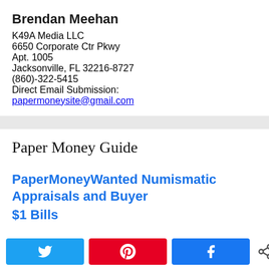Brendan Meehan
K49A Media LLC
6650 Corporate Ctr Pkwy
Apt. 1005
Jacksonville, FL 32216-8727
(860)-322-5415
Direct Email Submission:
papermoneysite@gmail.com
Paper Money Guide
PaperMoneyWanted Numismatic Appraisals and Buyer
$1 Bills